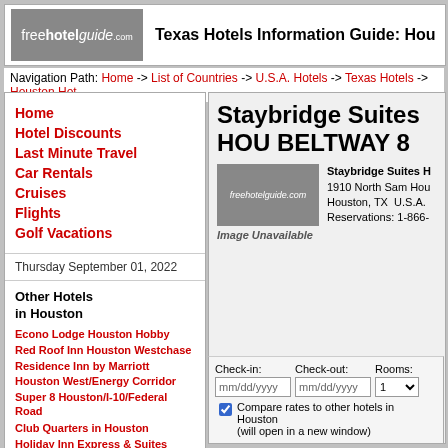Texas Hotels Information Guide: Houston Hotels
Navigation Path: Home -> List of Countries -> U.S.A. Hotels -> Texas Hotels -> Houston Hot...
Home
Hotel Discounts
Last Minute Travel
Car Rentals
Cruises
Flights
Golf Vacations
Thursday September 01, 2022
Other Hotels in Houston
Econo Lodge Houston Hobby
Red Roof Inn Houston Westchase
Residence Inn by Marriott Houston West/Energy Corridor
Super 8 Houston/I-10/Federal Road
Club Quarters in Houston
Holiday Inn Express & Suites
HOUSTON-DWTN CONV CTR
Staybridge Suites HOUSTON BELTWAY 8
[Figure (logo): freehotelguide.com logo placeholder - Image Unavailable]
Staybridge Suites H... 1910 North Sam Hou... Houston, TX U.S.A. Reservations: 1-866-...
Check-in: mm/dd/yyyy  Check-out: mm/dd/yyyy  Rooms: 1
Compare rates to other hotels in Houston (will open in a new window)